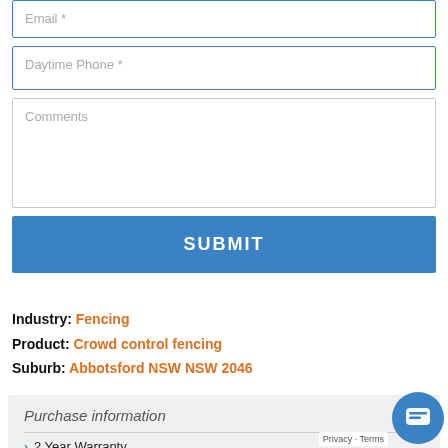Email *
Daytime Phone *
Comments
SUBMIT
Industry: Fencing
Product: Crowd control fencing
Suburb: Abbotsford NSW NSW 2046
Purchase information
2 Year Warranty